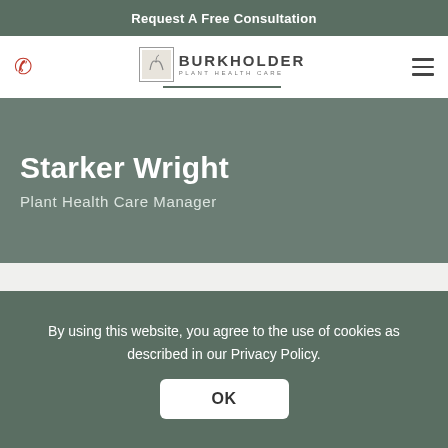Request A Free Consultation
[Figure (logo): Burkholder Plant Health Care logo with icon, text and green underline]
Starker Wright
Plant Health Care Manager
By using this website, you agree to the use of cookies as described in our Privacy Policy.
OK